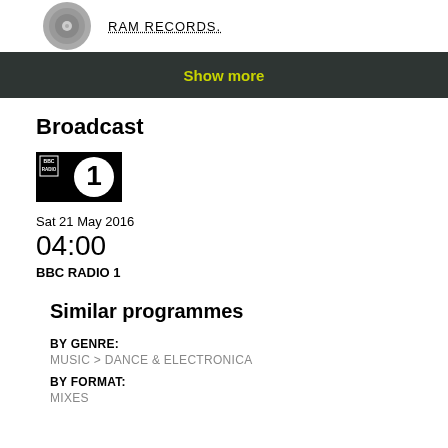[Figure (logo): RAM Records logo with grey vinyl record icon and dotted underline text]
Show more
Broadcast
[Figure (logo): BBC Radio 1 logo — black background with white BBC text and large white 1 circle]
Sat 21 May 2016
04:00
BBC RADIO 1
Similar programmes
BY GENRE:
MUSIC > DANCE & ELECTRONICA
BY FORMAT:
MIXES